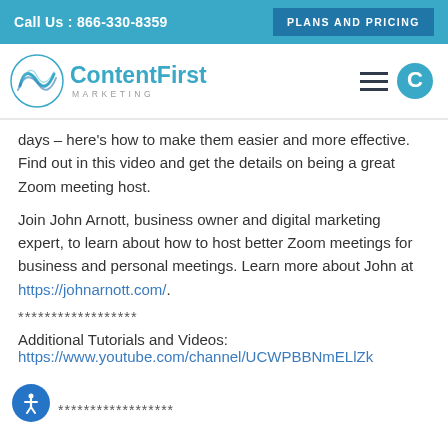Call Us : 866-330-8359  |  PLANS AND PRICING
[Figure (logo): ContentFirst Marketing logo with wave icon]
days – here's how to make them easier and more effective. Find out in this video and get the details on being a great Zoom meeting host.
Join John Arnott, business owner and digital marketing expert, to learn about how to host better Zoom meetings for business and personal meetings. Learn more about John at https://johnarnott.com/.
******************
Additional Tutorials and Videos:
https://www.youtube.com/channel/UCWPBBNmELlZk
******************